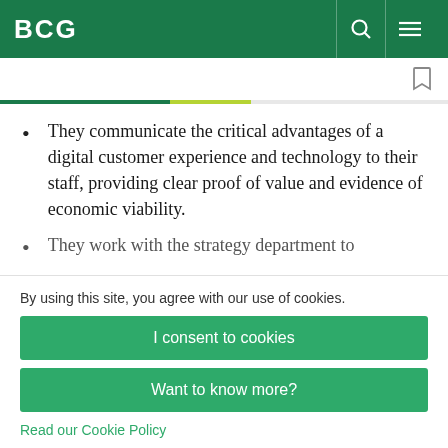BCG
They communicate the critical advantages of a digital customer experience and technology to their staff, providing clear proof of value and evidence of economic viability.
They work with the strategy department to
By using this site, you agree with our use of cookies.
I consent to cookies
Want to know more?
Read our Cookie Policy